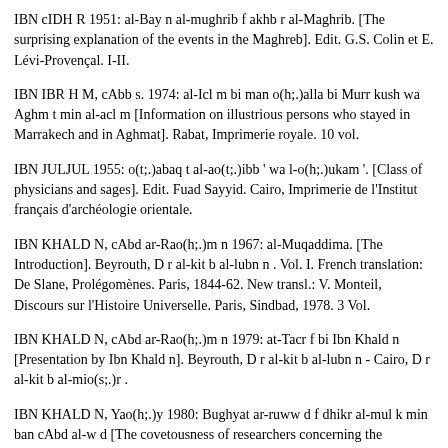IBN cIDH R 1951: al-Bay n al-mughrib f akhb r al-Maghrib. [The surprising explanation of the events in the Maghreb]. Edit. G.S. Colin et E. Lévi-Provençal. I-II.
IBN IBR H M, cAbb s. 1974: al-Icl m bi man o(h;.)alla bi Murr kush wa Aghm t min al-acl m [Information on illustrious persons who stayed in Marrakech and in Aghmat]. Rabat, Imprimerie royale. 10 vol.
IBN JULJUL 1955: o(t;.)abaq t al-ao(t;.)ibb ' wa l-o(h;.)ukam '. [Class of physicians and sages]. Edit. Fuad Sayyid. Cairo, Imprimerie de l'Institut français d'archéologie orientale.
IBN KHALD N, cAbd ar-Rao(h;.)m n 1967: al-Muqaddima. [The Introduction]. Beyrouth, D r al-kit b al-lubn n . Vol. I. French translation: De Slane, Prolégomènes. Paris, 1844-62. New transl.: V. Monteil, Discours sur l'Histoire Universelle. Paris, Sindbad, 1978. 3 Vol.
IBN KHALD N, cAbd ar-Rao(h;.)m n 1979: at-Tacr f bi Ibn Khald n [Presentation by Ibn Khald n]. Beyrouth, D r al-kit b al-lubn n - Cairo, D r al-kit b al-mio(s;.)r .
IBN KHALD N, Yao(h;.)y 1980: Bughyat ar-ruww d f dhikr al-mul k min ban cAbd al-w d [The covetousness of researchers concerning the generation of kings from Ban cAbdalwadids]. Abu